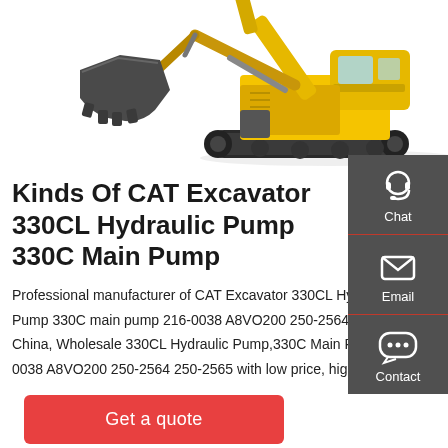[Figure (photo): Yellow CAT 330C excavator with black bucket arm extended to the left, on white background]
Kinds Of CAT Excavator 330CL Hydraulic Pump 330C Main Pump
Professional manufacturer of CAT Excavator 330CL Hydraulic Pump 330C main pump 216-0038 A8VO200 250-2564 250-2565, China, Wholesale 330CL Hydraulic Pump,330C Main Pump,216-0038 A8VO200 250-2564 250-2565 with low price, high quality.
[Figure (infographic): Dark grey sidebar panel with Chat, Email, and Contact icons and labels]
Get a quote